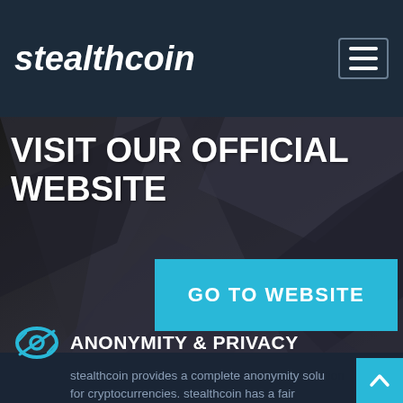stealthcoin
[Figure (screenshot): Hero section with dark geometric angular background (dark gray/black triangular shapes). Contains large white bold text 'VISIT OUR OFFICIAL WEBSITE' and a cyan/blue button labeled 'GO TO WEBSITE'.]
VISIT OUR OFFICIAL WEBSITE
GO TO WEBSITE
ANONYMITY & PRIVACY
stealthcoin provides a complete anonymity solution for cryptocurrencies. stealthcoin has a fair distribution with nearly four hours of low block